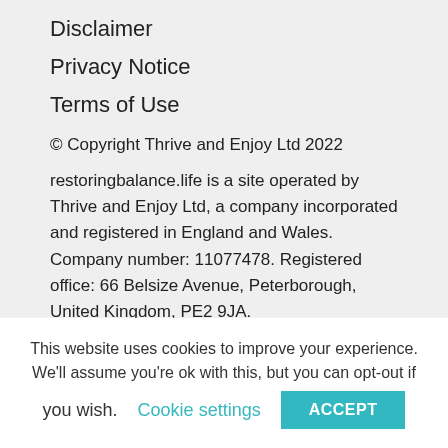Disclaimer
Privacy Notice
Terms of Use
© Copyright Thrive and Enjoy Ltd 2022
restoringbalance.life is a site operated by Thrive and Enjoy Ltd, a company incorporated and registered in England and Wales. Company number: 11077478. Registered office: 66 Belsize Avenue, Peterborough, United Kingdom, PE2 9JA.
This website uses cookies to improve your experience. We'll assume you're ok with this, but you can opt-out if you wish. Cookie settings ACCEPT